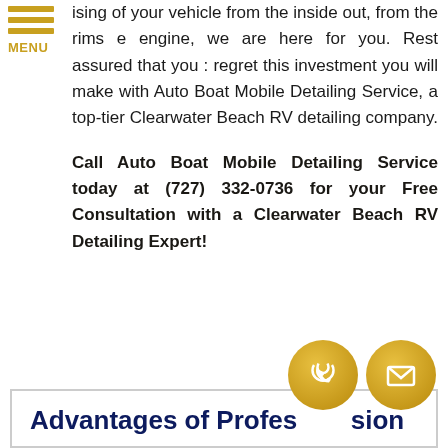[Figure (other): Hamburger menu icon with three gold horizontal bars and MENU label]
ising of your vehicle from the inside out, from the rims e engine, we are here for you. Rest assured that you : regret this investment you will make with Auto Boat Mobile Detailing Service, a top-tier Clearwater Beach RV detailing company.
Call Auto Boat Mobile Detailing Service today at (727) 332-0736 for your Free Consultation with a Clearwater Beach RV Detailing Expert!
Advantages of Profession